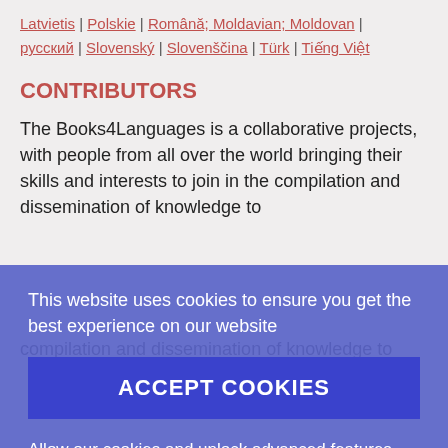Latvietis | Polskie | Română; Moldavian; Moldovan | русский | Slovenský | Slovenščina | Türk | Tiếng Việt
CONTRIBUTORS
The Books4Languages is a collaborative projects, with people from all over the world bringing their skills and interests to join in the compilation and dissemination of knowledge to
This website uses cookies to ensure you get the best experience on our website
ACCEPT COOKIES
Allow our cookies and unlock advanced features. Find out more on how we use cookies in our Privacy Policy and Cookies Policy .